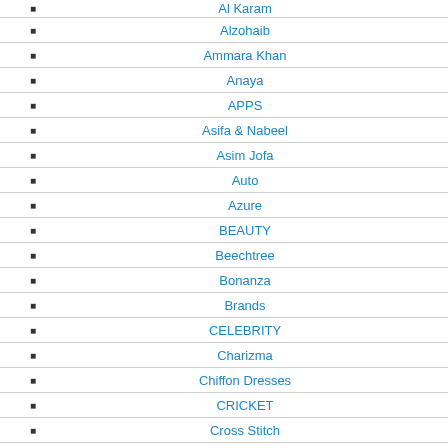Al Karam (partial, cut off at top)
Alzohaib
Ammara Khan
Anaya
APPS
Asifa & Nabeel
Asim Jofa
Auto
Azure
BEAUTY
Beechtree
Bonanza
Brands
CELEBRITY
Charizma
Chiffon Dresses
CRICKET
Cross Stitch
Deepak Perwani
Dresses
EDUCATION
Ego (partial, cut off at bottom)